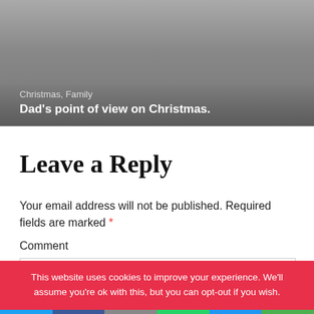[Figure (photo): Gray gradient hero image area with overlay text showing category tags and article title]
Christmas, Family
Dad's point of view on Christmas.
Leave a Reply
Your email address will not be published. Required fields are marked *
Comment
This website uses cookies to improve your experience. We'll assume you're ok with this, but you can opt-out if you wish.